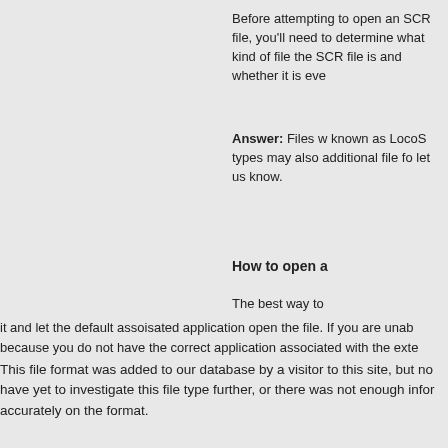Before attempting to open an SCR file, you'll need to determine what kind of file the SCR file is and whether it is even possible to open or view the file format.
Answer: Files with the .SCR extension may be known as LocoScript Screen Font Files. These file types may also be opened with other applications. If an additional file format uses the .SCR extension, please let us know.
How to open a
The best way to open an SCR file is to double-click it and let the default assoisated application open the file. If you are unable to open the file this way, it may be because you do not have the correct application associated with the extension to view or edit the SCR file.
This file format was added to our database by a visitor to this site, but no additional information was provided. We have yet to investigate this file type further, or there was not enough information available to report accurately on the format.
Please check back soon for more information as we are constantly updating our database with new file format information at a regular frequency.
Tip: Try to open the SCR file using a text-editor such as Notepad, as many file types contain unformatted plain-text and can viewed correctly using this method.